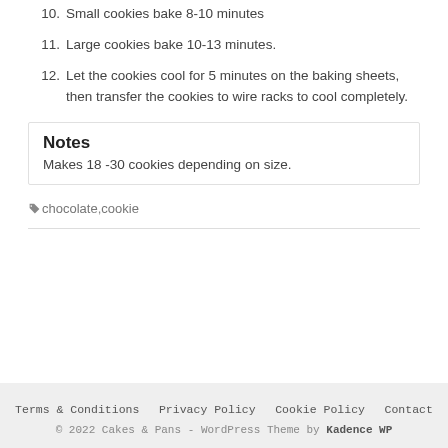10. Small cookies bake 8-10 minutes
11. Large cookies bake 10-13 minutes.
12. Let the cookies cool for 5 minutes on the baking sheets, then transfer the cookies to wire racks to cool completely.
Notes
Makes 18 -30 cookies depending on size.
🏷chocolate,cookie
Terms & Conditions   Privacy Policy   Cookie Policy   Contact
© 2022 Cakes & Pans - WordPress Theme by Kadence WP